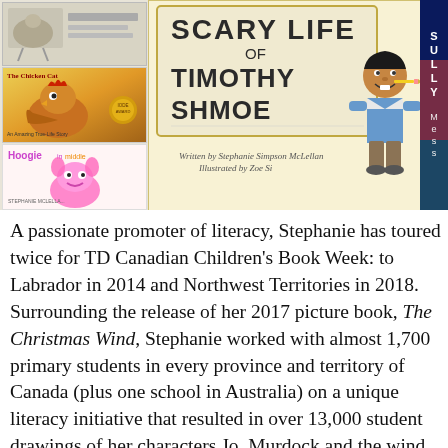[Figure (illustration): Collage of children's book covers: a small book at top left, The Chicken Cat in middle left, Hoogie in the Middle at bottom left, The Scary Life of Timothy Shmoe in center (large, illustrated cover with a boy writing on a sign), and a partial view of Sully Mess on the right.]
A passionate promoter of literacy, Stephanie has toured twice for TD Canadian Children's Book Week: to Labrador in 2014 and Northwest Territories in 2018. Surrounding the release of her 2017 picture book, The Christmas Wind, Stephanie worked with almost 1,700 primary students in every province and territory of Canada (plus one school in Australia) on a unique literacy initiative that resulted in over 13,000 student drawings of her characters Jo, Murdock and the wind...